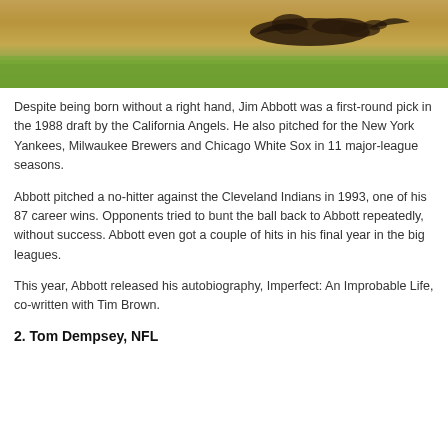[Figure (photo): Top portion of a baseball field image showing sandy dirt and green grass with a dark shadow silhouette of a bird or figure on the dirt infield.]
Despite being born without a right hand, Jim Abbott was a first-round pick in the 1988 draft by the California Angels. He also pitched for the New York Yankees, Milwaukee Brewers and Chicago White Sox in 11 major-league seasons.
Abbott pitched a no-hitter against the Cleveland Indians in 1993, one of his 87 career wins. Opponents tried to bunt the ball back to Abbott repeatedly, without success. Abbott even got a couple of hits in his final year in the big leagues.
This year, Abbott released his autobiography, Imperfect: An Improbable Life, co-written with Tim Brown.
2. Tom Dempsey, NFL